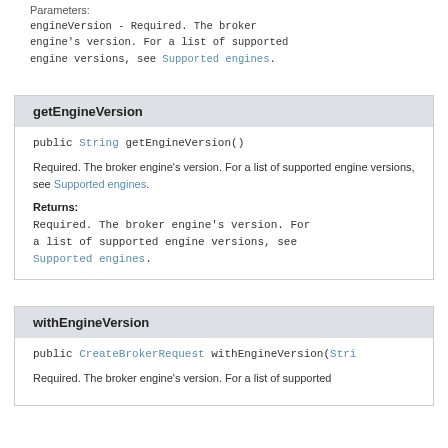Parameters:
engineVersion - Required. The broker engine's version. For a list of supported engine versions, see Supported engines.
getEngineVersion
public String getEngineVersion()
Required. The broker engine's version. For a list of supported engine versions, see Supported engines.
Returns:
Required. The broker engine's version. For a list of supported engine versions, see Supported engines.
withEngineVersion
public CreateBrokerRequest withEngineVersion(Stri
Required. The broker engine's version. For a list of supported